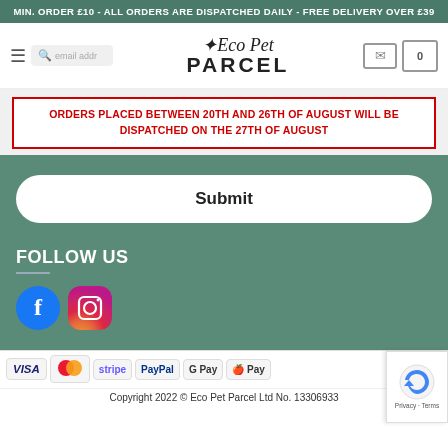MIN. ORDER £10 - ALL ORDERS ARE DISPATCHED DAILY - FREE DELIVERY OVER £39
[Figure (logo): Eco Pet Parcel logo with script and bold text]
ORDERS PLACED BETWEEN 20TH AND 26TH OF AUGUST WILL BE DISPATCHED ON THE 27TH OF AUGUST
Submit
FOLLOW US
[Figure (illustration): Facebook and Instagram social media icons]
[Figure (illustration): Payment method logos: VISA, MasterCard, stripe, PayPal, G Pay, Apple Pay]
Copyright 2022 © Eco Pet Parcel Ltd No. 13306933